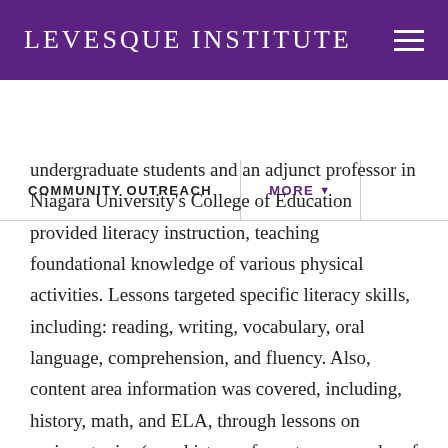Levesque Institute
COMMUNITY OUTREACH
MORE
undergraduate students and an adjunct professor in Niagara University's College of Education provided literacy instruction, teaching foundational knowledge of various physical activities. Lessons targeted specific literacy skills, including: reading, writing, vocabulary, oral language, comprehension, and fluency. Also, content area information was covered, including, history, math, and ELA, through lessons on various topics (e.g., history of sports, geography of where sports are popular, etc.). Niagara University undergraduate athletes, sports management students, and club sports students were used to facilitate physical activities and games related to the literacy lesson of the day.